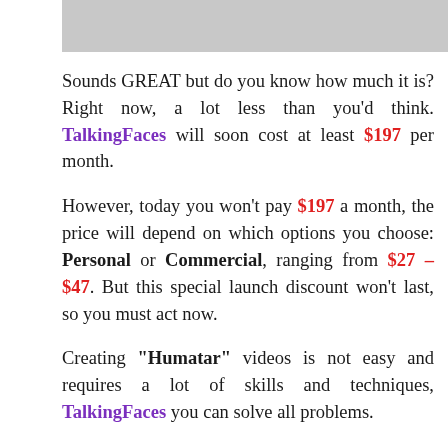[Figure (other): Gray banner/image bar at top of page]
Sounds GREAT but do you know how much it is? Right now, a lot less than you'd think. TalkingFaces will soon cost at least $197 per month.
However, today you won't pay $197 a month, the price will depend on which options you choose: Personal or Commercial, ranging from $27 – $47. But this special launch discount won't last, so you must act now.
Creating "Humatar" videos is not easy and requires a lot of skills and techniques, TalkingFaces you can solve all problems.